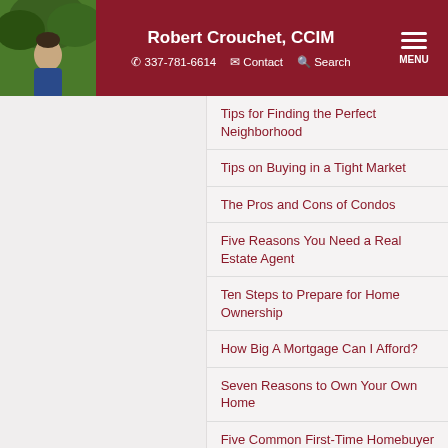Robert Crouchet, CCIM | 337-781-6614 | Contact | Search | MENU
Tips for Finding the Perfect Neighborhood
Tips on Buying in a Tight Market
The Pros and Cons of Condos
Five Reasons You Need a Real Estate Agent
Ten Steps to Prepare for Home Ownership
How Big A Mortgage Can I Afford?
Seven Reasons to Own Your Own Home
Five Common First-Time Homebuyer Mistakes
Ten Tips for First-Time Homebuyers